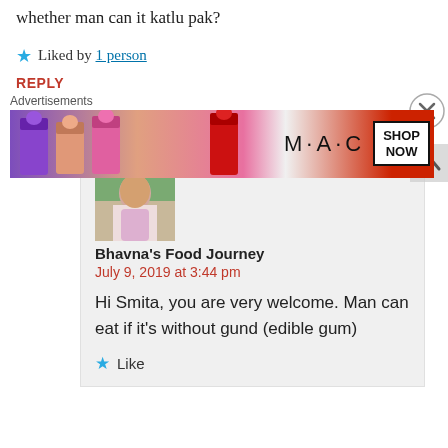whether man can it katlu pak?
Liked by 1 person
REPLY
[Figure (photo): Avatar photo of Bhavna's Food Journey – woman smiling outdoors]
Bhavna's Food Journey
July 9, 2019 at 3:44 pm
Hi Smita, you are very welcome. Man can eat if it's without gund (edible gum)
Like
[Figure (screenshot): MAC cosmetics advertisement showing lipsticks with SHOP NOW button]
Advertisements